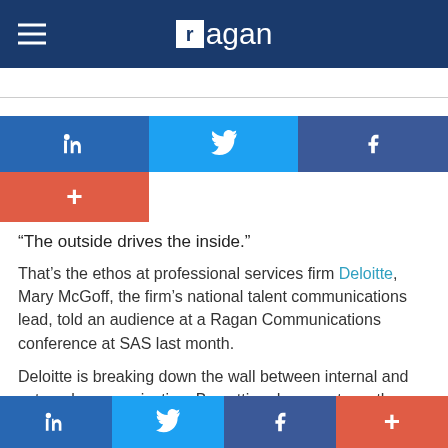Ragan
[Figure (other): Social share buttons: LinkedIn, Twitter, Facebook, Google+]
“The outside drives the inside.”
That’s the ethos at professional services firm Deloitte, Mary McGoff, the firm’s national talent communications lead, told an audience at a Ragan Communications conference at SAS last month.
Deloitte is breaking down the wall between internal and external communication. By putting documents on the Web, posting employees videos and YouTube, and giving Twitter
[Figure (other): Bottom social share bar: LinkedIn, Twitter, Facebook, Google+]